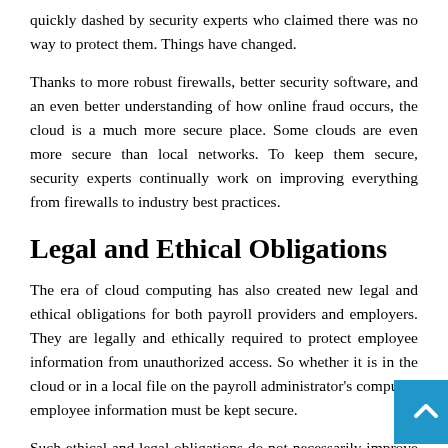quickly dashed by security experts who claimed there was no way to protect them. Things have changed.
Thanks to more robust firewalls, better security software, and an even better understanding of how online fraud occurs, the cloud is a much more secure place. Some clouds are even more secure than local networks. To keep them secure, security experts continually work on improving everything from firewalls to industry best practices.
Legal and Ethical Obligations
The era of cloud computing has also created new legal and ethical obligations for both payroll providers and employers. They are legally and ethically required to protect employee information from unauthorized access. So whether it is in the cloud or in a local file on the payroll administrator's computer, employee information must be kept secure.
Such ethical and legal obligations do not necessarily improve security directly, but they do improve it indirectly. The payroll provider or